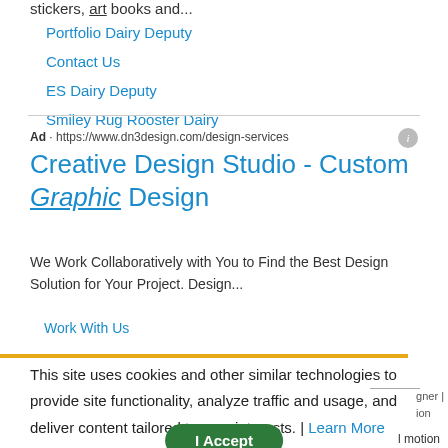stickers, art books and...
Portfolio Dairy Deputy
Contact Us
ES Dairy Deputy
Smiley Rug Rooster Dairy
Ad · https://www.dn3design.com/design-services
Creative Design Studio - Custom Graphic Design
We Work Collaboratively with You to Find the Best Design Solution for Your Project. Design...
Work With Us
This site uses cookies and other similar technologies to provide site functionality, analyze traffic and usage, and deliver content tailored to your interests. | Learn More
I Accept